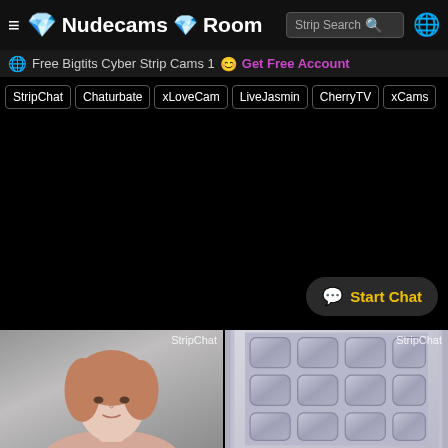≡ 💎 Nudecams 💎 Room   Strip Search 🔍 🌐
🌐 Free Bigtits Cyber Strip Cams 1 😊 Get Free Account
StripChat | Chaturbate | xLoveCam | LiveJasmin | CherryTV | xCams
[Figure (screenshot): Large black area — video room content area]
💬 Start Chat
[Figure (photo): Left webcam thumbnail labeled StripChat showing a young woman]
[Figure (photo): Right webcam thumbnail labeled StripChat showing an upholstered gray headboard]